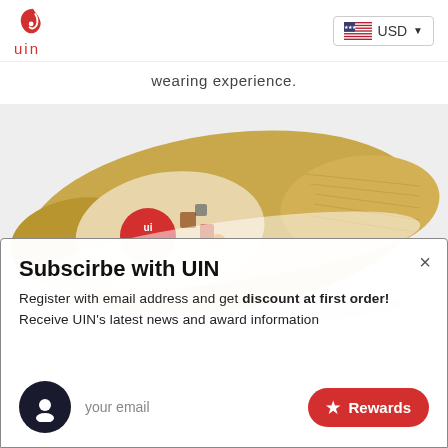uin | USD
wearing experience.
[Figure (photo): A golden/yellow knit slip-on shoe viewed from above with a decorative illustrated insole showing a UIN brand circle logo and various artistic prints, on a light grey background.]
Subscirbe with UIN
Register with email address and get discount at first order! Receive UIN's latest news and award information
your email
Rewards